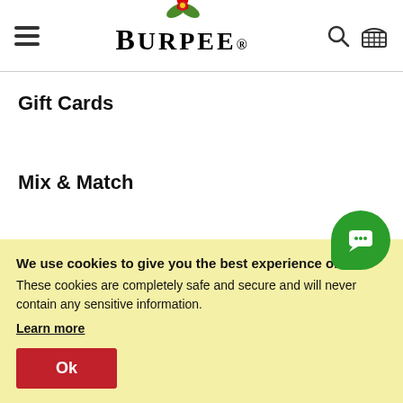Burpee - navigation header with hamburger menu, Burpee logo, search and basket icons
Gift Cards
Mix & Match
We use cookies to give you the best experience on our site. These cookies are completely safe and secure and will never contain any sensitive information.
Learn more
Ok